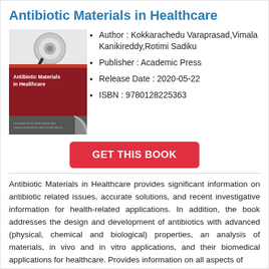Antibiotic Materials in Healthcare
[Figure (illustration): Book cover for 'Antibiotic Materials in Healthcare' showing a stethoscope on a dark red/maroon background with white text listing editors.]
Author : Kokkarachedu Varaprasad,Vimala Kanikireddy,Rotimi Sadiku
Publisher : Academic Press
Release Date : 2020-05-22
ISBN : 9780128225363
GET THIS BOOK
Antibiotic Materials in Healthcare provides significant information on antibiotic related issues, accurate solutions, and recent investigative information for health-related applications. In addition, the book addresses the design and development of antibiotics with advanced (physical, chemical and biological) properties, an analysis of materials, in vivo and in vitro applications, and their biomedical applications for healthcare. Provides information on all aspects of